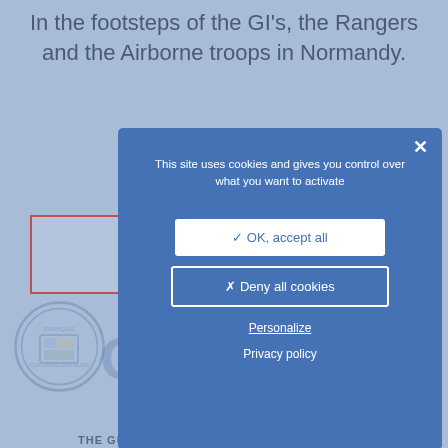In the footsteps of the GI's, the Rangers and the Airborne troops in Normandy.
[Figure (screenshot): Cookie consent modal dialog on a travel website. The modal has a blue background and contains a message 'This site uses cookies and gives you control over what you want to activate' with buttons: 'OK, accept all' (white button), 'Deny all cookies' (outlined button), 'Personalize' (underlined link), and 'Privacy policy' link. A close X button is in the top right corner.]
This site uses cookies and gives you control over what you want to activate
✓ OK, accept all
✗ Deny all cookies
Personalize
Privacy policy